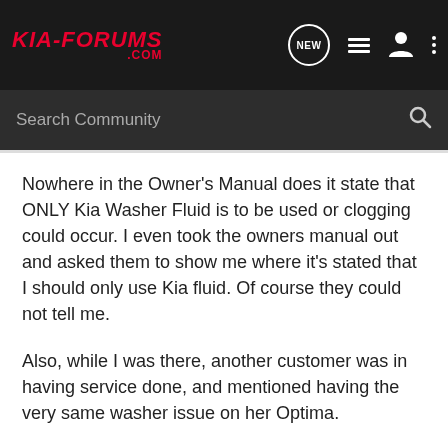KIA-FORUMS.COM
Search Community
Nowhere in the Owner's Manual does it state that ONLY Kia Washer Fluid is to be used or clogging could occur. I even took the owners manual out and asked them to show me where it's stated that I should only use Kia fluid. Of course they could not tell me.
Also, while I was there, another customer was in having service done, and mentioned having the very same washer issue on her Optima.
Question is, what's so special about the pumps on the Kias that makes them so sensitive to clogging?
I have always used non OEM washer fluids in every one of my